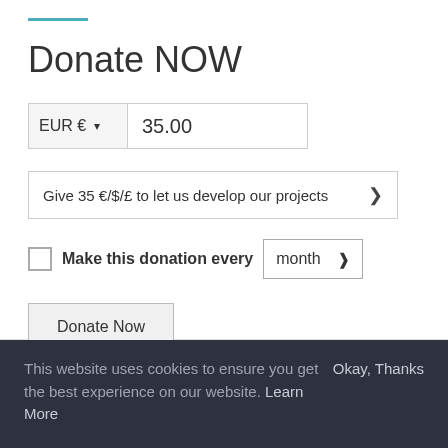Donate NOW
EUR € ▾   35.00
Give 35 €/$/£ to let us develop our projects ❯
☐ Make this donation every   month ❯
Donate Now
This website uses cookies to ensure you get the best experience on our website. Learn More   Okay, Thanks